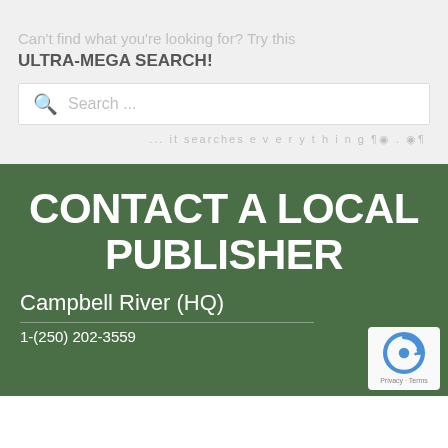Can't find what you're looking for? Try this ULTRA-MEGA SEARCH!
[Figure (screenshot): Search input box with red magnifying glass icon and placeholder text 'Search ...']
... it searches e v e r y t h i n g ¶ ⊙ . ⊙ ¶
CONTACT A LOCAL PUBLISHER
Campbell River (HQ)
1-(250) 202-3559